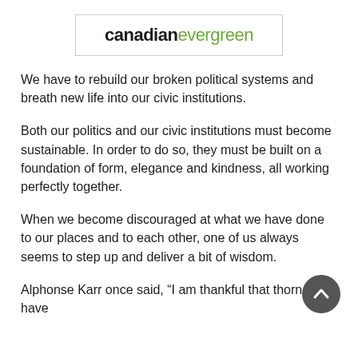[Figure (logo): Canadian Evergreen logo — 'canadian' in bold black and 'evergreen' in green, inside a rectangular border]
We have to rebuild our broken political systems and breath new life into our civic institutions.
Both our politics and our civic institutions must become sustainable. In order to do so, they must be built on a foundation of form, elegance and kindness, all working perfectly together.
When we become discouraged at what we have done to our places and to each other, one of us always seems to step up and deliver a bit of wisdom.
Alphonse Karr once said, “I am thankful that thorns have